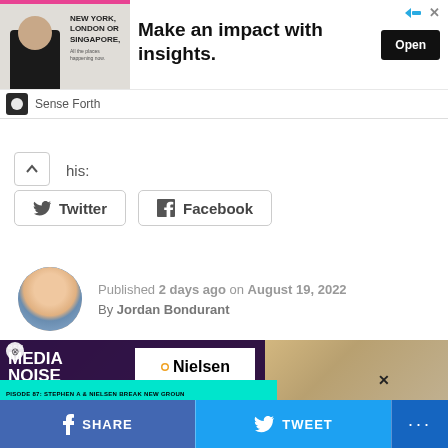[Figure (illustration): Advertisement banner: image of person at left with text 'NEW YORK, LONDON OR SINGAPORE,', large bold text 'Make an impact with insights.', black Open button, Sense Forth branding, with ad icons top right]
his:
[Figure (illustration): Share buttons: Twitter and Facebook buttons with icons]
Published 2 days ago on August 19, 2022
By Jordan Bondurant
[Figure (photo): Main article image: elderly man in gold jacket. Overlaid with BSM Media Noise podcast thumbnail (episode 87: Stephen A & Nielsen Break New Ground) and Nielsen logo overlay and close button]
[Figure (illustration): Bottom share bar with Facebook SHARE, Twitter TWEET, and more (...) buttons]